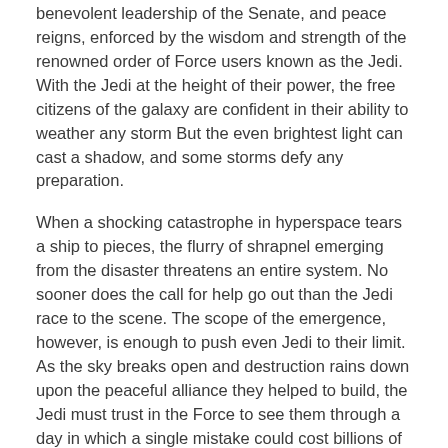benevolent leadership of the Senate, and peace reigns, enforced by the wisdom and strength of the renowned order of Force users known as the Jedi. With the Jedi at the height of their power, the free citizens of the galaxy are confident in their ability to weather any storm But the even brightest light can cast a shadow, and some storms defy any preparation.
When a shocking catastrophe in hyperspace tears a ship to pieces, the flurry of shrapnel emerging from the disaster threatens an entire system. No sooner does the call for help go out than the Jedi race to the scene. The scope of the emergence, however, is enough to push even Jedi to their limit. As the sky breaks open and destruction rains down upon the peaceful alliance they helped to build, the Jedi must trust in the Force to see them through a day in which a single mistake could cost billions of lives.
Even as the Jedi battle valiantly against calamity, something truly deadly grows beyond the boundary of the Republic. The hyperspace disaster is far more sinister than the Jedi could ever suspect. A threat hides in the darkness, far from the light of the age, and harbors a secret that could strike fear into even